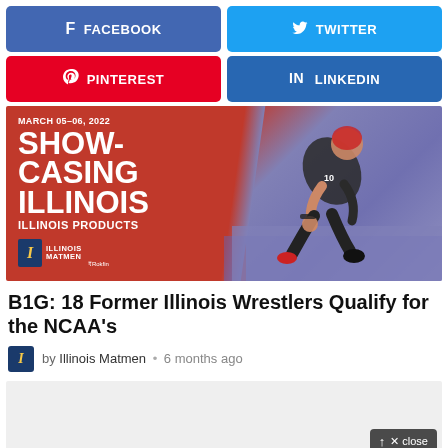[Figure (infographic): Social share buttons row 1: Facebook (blue) and Twitter (blue)]
[Figure (infographic): Social share buttons row 2: Pinterest (red) and LinkedIn (blue)]
[Figure (photo): Banner image: 'MARCH 05-06, 2022 SHOWCASING ILLINOIS ILLINOIS PRODUCTS' with Illinois Matmen on Rokfin logo, and a wrestler photo on the right side]
B1G: 18 Former Illinois Wrestlers Qualify for the NCAA's
by Illinois Matmen • 6 months ago
[Figure (other): Bottom content area placeholder / ad area with close button]